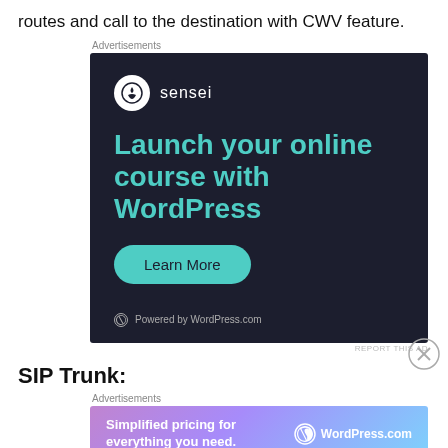routes and call to the destination with CWV feature.
[Figure (screenshot): Advertisement banner for Sensei plugin: dark navy background with Sensei logo (white circle with tree icon and 'sensei' text), headline 'Launch your online course with WordPress' in teal, a 'Learn More' rounded button in teal, and 'Powered by WordPress.com' footer text.]
SIP Trunk:
[Figure (screenshot): Advertisement banner for WordPress.com: gradient purple-to-blue background with text 'Simplified pricing for everything you need.' in white on left, WordPress.com logo on right.]